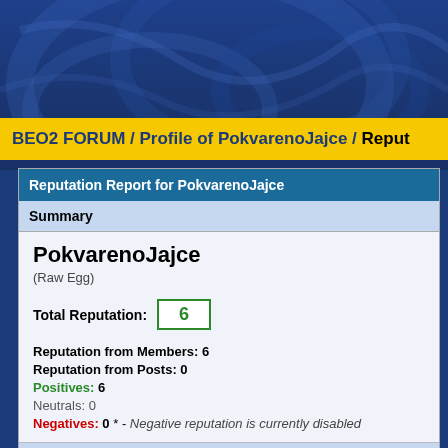BEO2 FORUM / Profile of PokvarenoJajce / Reput
Reputation Report for PokvarenoJajce
Summary
PokvarenoJajce
(Raw Egg)
Total Reputation: 6
Reputation from Members: 6
Reputation from Posts: 0
Positives: 6
Neutrals: 0
Negatives: 0 * - Negative reputation is currently disabled
Comments
Notorious1234 (40) - Last updated 04-18-2016, 09:44 PM